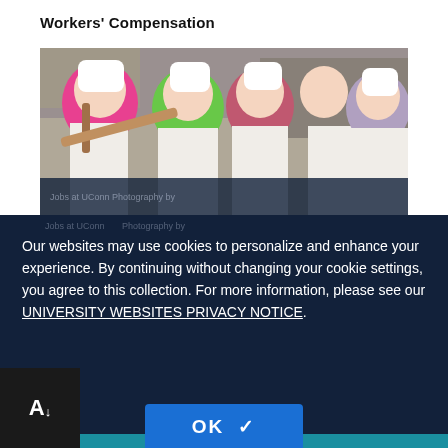Workers' Compensation
[Figure (photo): Five children in white aprons and chef hats in a kitchen, one stirring with a wooden spoon]
Our websites may use cookies to personalize and enhance your experience. By continuing without changing your cookie settings, you agree to this collection. For more information, please see our UNIVERSITY WEBSITES PRIVACY NOTICE.